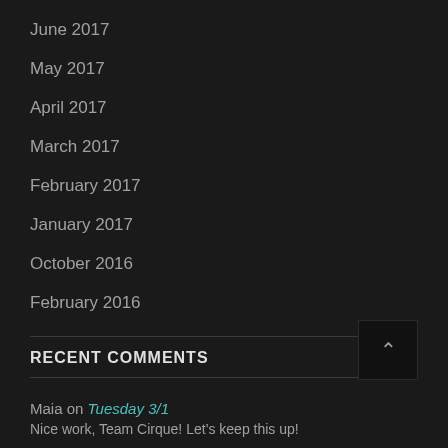June 2017
May 2017
April 2017
March 2017
February 2017
January 2017
October 2016
February 2016
RECENT COMMENTS
Maia on Tuesday 3/1
Nice work, Team Cirque! Let’s keep this up!
Maia on Introducing the Teams
I’m thrilled to have you on team Cirque, Sam! It......